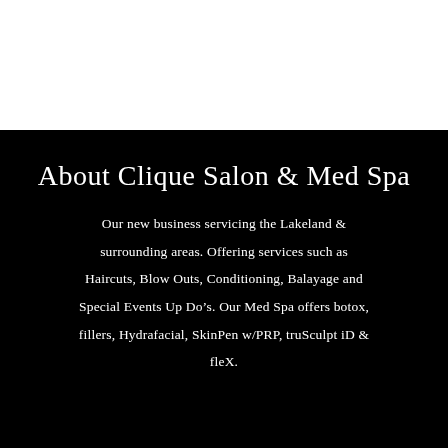About Clique Salon & Med Spa
Our new business servicing the Lakeland & surrounding areas. Offering services such as Haircuts, Blow Outs, Conditioning, Balayage and Special Events Up Do’s. Our Med Spa offers botox, fillers, Hydrafacial, SkinPen w/PRP, truSculpt iD & fleX.